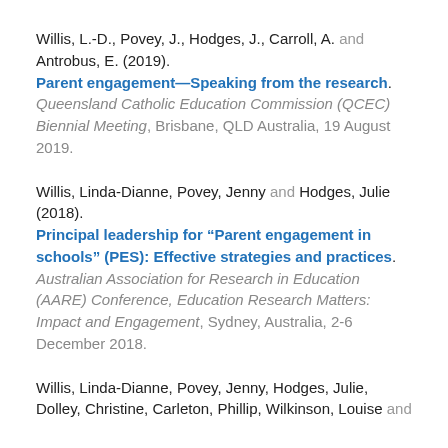Willis, L.-D., Povey, J., Hodges, J., Carroll, A. and Antrobus, E. (2019). Parent engagement—Speaking from the research. Queensland Catholic Education Commission (QCEC) Biennial Meeting, Brisbane, QLD Australia, 19 August 2019.
Willis, Linda-Dianne, Povey, Jenny and Hodges, Julie (2018). Principal leadership for "Parent engagement in schools" (PES): Effective strategies and practices. Australian Association for Research in Education (AARE) Conference, Education Research Matters: Impact and Engagement, Sydney, Australia, 2-6 December 2018.
Willis, Linda-Dianne, Povey, Jenny, Hodges, Julie, Dolley, Christine, Carleton, Phillip, Wilkinson, Louise and